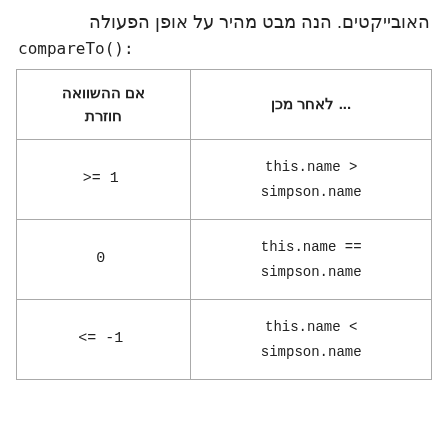האובייקטים. הנה מבט מהיר על אופן הפעולה compareTo():
| אם ההשוואה חוזרת | ... לאחר מכן |
| --- | --- |
| >= 1 | this.name >
simpson.name |
| 0 | this.name ==
simpson.name |
| <= -1 | this.name <
simpson.name |